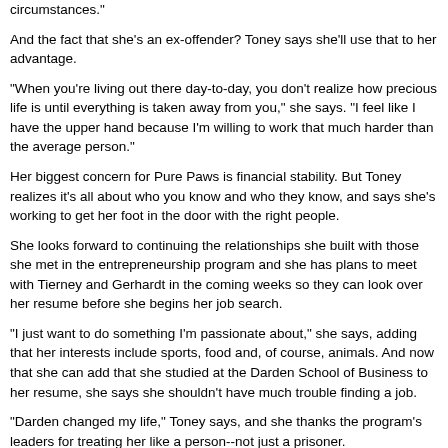circumstances."
And the fact that she's an ex-offender? Toney says she'll use that to her advantage.
"When you're living out there day-to-day, you don't realize how precious life is until everything is taken away from you," she says. "I feel like I have the upper hand because I'm willing to work that much harder than the average person."
Her biggest concern for Pure Paws is financial stability. But Toney realizes it's all about who you know and who they know, and says she's working to get her foot in the door with the right people.
She looks forward to continuing the relationships she built with those she met in the entrepreneurship program and she has plans to meet with Tierney and Gerhardt in the coming weeks so they can look over her resume before she begins her job search.
"I just want to do something I'm passionate about," she says, adding that her interests include sports, food and, of course, animals. And now that she can add that she studied at the Darden School of Business to her resume, she says she shouldn't have much trouble finding a job.
"Darden changed my life," Toney says, and she thanks the program's leaders for treating her like a person--not just a prisoner.
Recidivism Rates and Expanding the Programs
While there's plenty of interest in expanding the Darden programs into